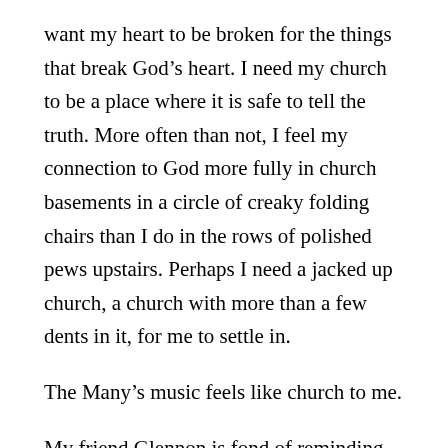want my heart to be broken for the things that break God's heart. I need my church to be a place where it is safe to tell the truth. More often than not, I feel my connection to God more fully in church basements in a circle of creaky folding chairs than I do in the rows of polished pews upstairs. Perhaps I need a jacked up church, a church with more than a few dents in it, for me to settle in.
The Many's music feels like church to me.
My friend Glennon is fond of reminding us that the two most frequent phrases in the Bible are “Fear not,” and “Remember.” She also points out that the word